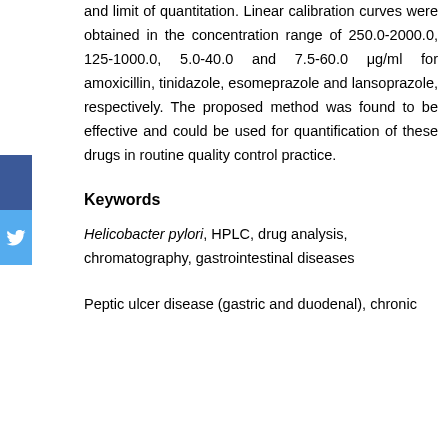and limit of quantitation. Linear calibration curves were obtained in the concentration range of 250.0-2000.0, 125-1000.0, 5.0-40.0 and 7.5-60.0 μg/ml for amoxicillin, tinidazole, esomeprazole and lansoprazole, respectively. The proposed method was found to be effective and could be used for quantification of these drugs in routine quality control practice.
Keywords
Helicobacter pylori, HPLC, drug analysis, chromatography, gastrointestinal diseases
Peptic ulcer disease (gastric and duodenal), chronic